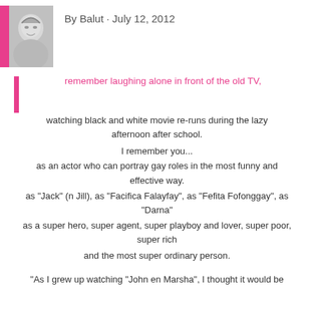[Figure (photo): Black and white portrait photo of a woman smiling, with a pink vertical bar on the left side]
By Balut · July 12, 2012
remember laughing alone in front of the old TV, watching black and white movie re-runs during the lazy afternoon after school.
I remember you...
as an actor who can portray gay roles in the most funny and effective way.
as "Jack" (n Jill), as "Facifica Falayfay", as "Fefita Fofonggay", as "Darna"
as a super hero, super agent, super playboy and lover, super poor, super rich
and the most super ordinary person.
"As I grew up watching "John en Marsha", I thought it would be